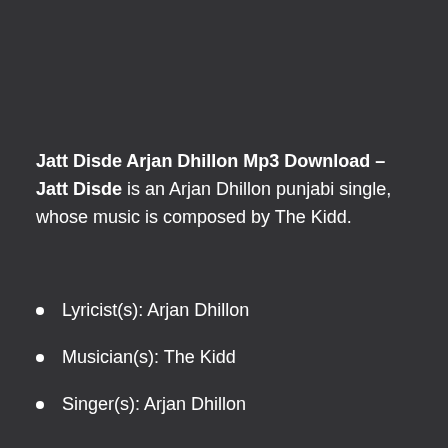Jatt Disde Arjan Dhillon Mp3 Download – Jatt Disde is an Arjan Dhillon punjabi single, whose music is composed by The Kidd.
Lyricist(s): Arjan Dhillon
Musician(s): The Kidd
Singer(s): Arjan Dhillon